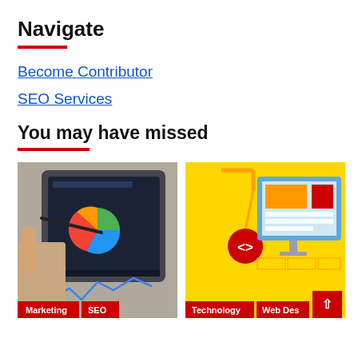Navigate
Become Contributor
SEO Services
You may have missed
[Figure (photo): A person pointing at a tablet screen showing analytics charts including a pie chart and line graph. Tags: Marketing, SEO]
[Figure (illustration): Web design illustration on yellow background with a crane holding a code symbol, monitor with layout blocks. Tags: Technology, Web Design]